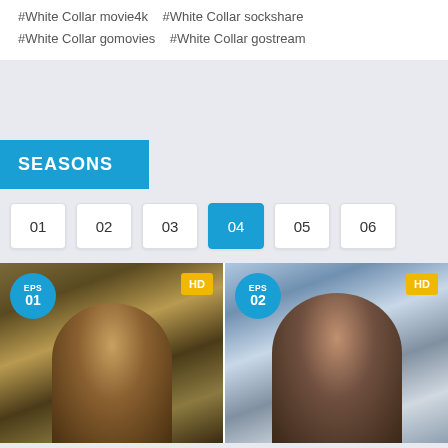#White Collar movie4k   #White Collar sockshare
#White Collar gomovies   #White Collar gostream
SEASONS
01
02
03
04
05
06
[Figure (photo): Episode 01 thumbnail showing a man in a tan fedora hat, HD badge top right, EPS 01 badge top left]
[Figure (photo): Episode 02 thumbnail showing a man in a gray shirt aiming a gun outdoors, HD badge top right, EPS 02 badge top left]